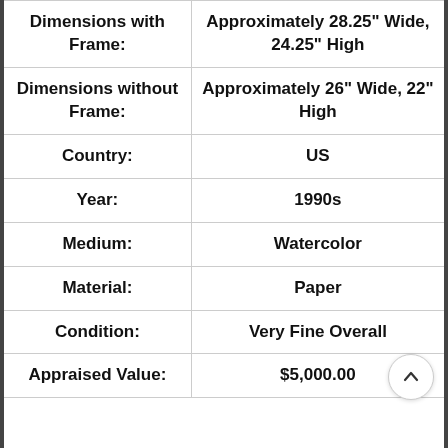| Field | Value |
| --- | --- |
| Dimensions with Frame: | Approximately 28.25" Wide, 24.25" High |
| Dimensions without Frame: | Approximately 26" Wide, 22" High |
| Country: | US |
| Year: | 1990s |
| Medium: | Watercolor |
| Material: | Paper |
| Condition: | Very Fine Overall |
| Appraised Value: | $5,000.00 |